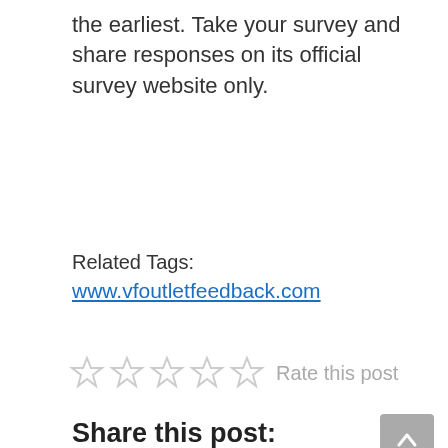the earliest. Take your survey and share responses on its official survey website only.
Related Tags:
www.vfoutletfeedback.com
[Figure (other): Five empty star rating icons with text 'Rate this post']
Share this post:
[Figure (infographic): Four social media share buttons: Twitter (blue), Facebook (dark blue), Pinterest (red), LinkedIn (teal/blue)]
Related Posts:
1. www.tellkroger.com – Kroger